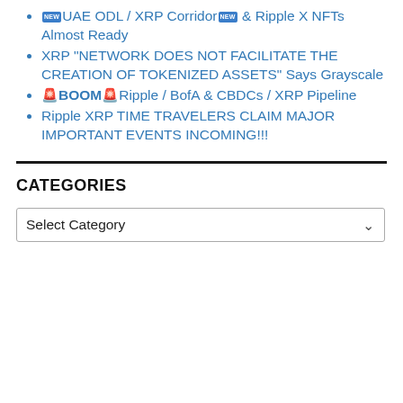🆕UAE ODL / XRP Corridor🆕 & Ripple X NFTs Almost Ready
XRP "NETWORK DOES NOT FACILITATE THE CREATION OF TOKENIZED ASSETS" Says Grayscale
🚨BOOM🚨Ripple / BofA & CBDCs / XRP Pipeline
Ripple XRP TIME TRAVELERS CLAIM MAJOR IMPORTANT EVENTS INCOMING!!!
CATEGORIES
Select Category